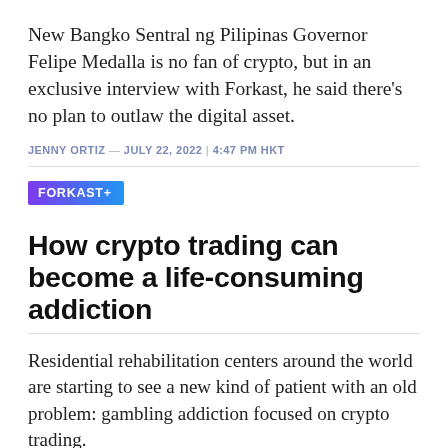New Bangko Sentral ng Pilipinas Governor Felipe Medalla is no fan of crypto, but in an exclusive interview with Forkast, he said there’s no plan to outlaw the digital asset.
JENNY ORTIZ — JULY 22, 2022 | 4:47 PM HKT
[Figure (other): FORKAST+ badge with purple-to-blue gradient background and white bold text]
How crypto trading can become a life-consuming addiction
Residential rehabilitation centers around the world are starting to see a new kind of patient with an old problem: gambling addiction focused on crypto trading.